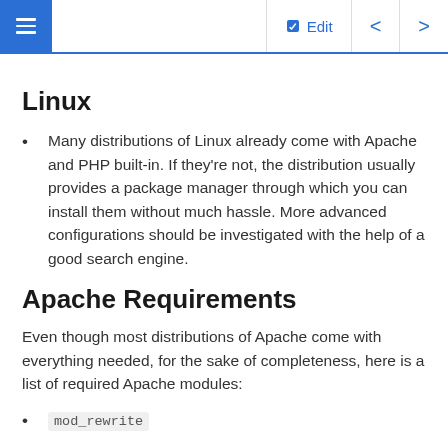Navigation bar with menu, Edit, back and forward arrows
Linux
Many distributions of Linux already come with Apache and PHP built-in. If they're not, the distribution usually provides a package manager through which you can install them without much hassle. More advanced configurations should be investigated with the help of a good search engine.
Apache Requirements
Even though most distributions of Apache come with everything needed, for the sake of completeness, here is a list of required Apache modules:
mod_rewrite